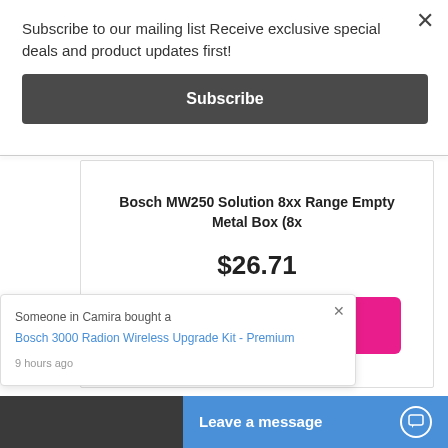Subscribe to our mailing list Receive exclusive special deals and product updates first!
Subscribe
Bosch MW250 Solution 8xx Range Empty Metal Box (8x
$26.71
Add to Cart
Add to Wishlist
Someone in Camira bought a
Bosch 3000 Radion Wireless Upgrade Kit - Premium
9 hours ago
Leave a message